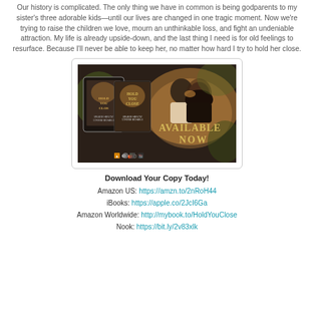Our history is complicated. The only thing we have in common is being godparents to my sister's three adorable kids—until our lives are changed in one tragic moment. Now we're trying to raise the children we love, mourn an unthinkable loss, and fight an undeniable attraction. My life is already upside-down, and the last thing I need is for old feelings to resurface. Because I'll never be able to keep her, no matter how hard I try to hold her close.
[Figure (photo): Book cover promotional image for 'Hold You Close' showing two book covers (tablet and paperback) alongside a couple about to kiss, with text 'AVAILABLE NOW' in gold letters and retailer icons at the bottom.]
Download Your Copy Today!
Amazon US: https://amzn.to/2nRoH44
iBooks: https://apple.co/2JcI6Ga
Amazon Worldwide: http://mybook.to/HoldYouClose
Nook: https://bit.ly/2v83xlk